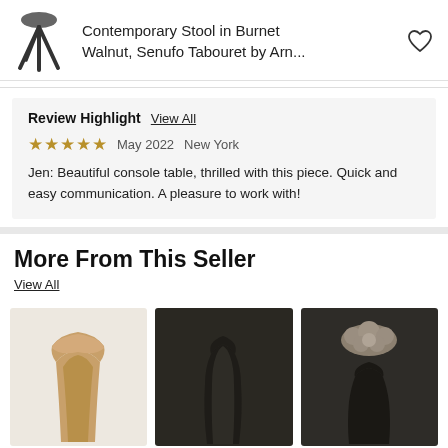Contemporary Stool in Burnet Walnut, Senufo Tabouret by Arn...
Review Highlight  View All
★★★★★  May 2022   New York
Jen: Beautiful console table, thrilled with this piece. Quick and easy communication. A pleasure to work with!
More From This Seller
View All
[Figure (photo): Three furniture products: a light wood sculptural stool, a dark black sculptural vase/stool, and a black stool with textured grey top]
[Figure (photo): Light natural wood sculptural stool with curved vertical legs]
[Figure (photo): Dark blackened wood sculptural vase or stool]
[Figure (photo): Black stool with fluffy grey/brown textured cushion top]